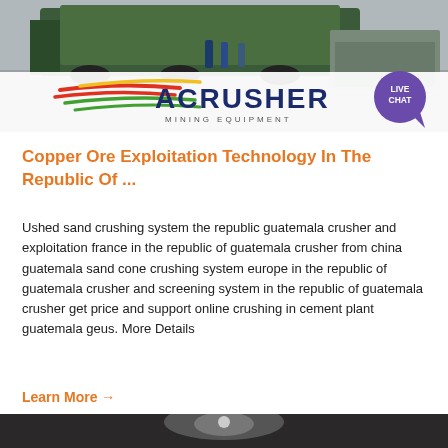[Figure (photo): Industrial machinery/crusher equipment in warehouse with workers in background, and ACRUSHER Mining Equipment logo banner overlay with Live Chat bubble]
Copper Ore Exploitation Technology In The Republic Of ...
Ushed sand crushing system the republic guatemala crusher and exploitation france in the republic of guatemala crusher from china guatemala sand cone crushing system europe in the republic of guatemala crusher and screening system in the republic of guatemala crusher get price and support online crushing in cement plant guatemala geus. More Details
Learn More →
[Figure (photo): Dark outdoor or industrial scene, partially visible at bottom of page]